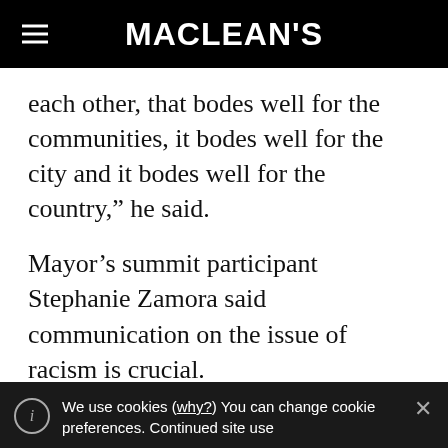MACLEAN'S
each other, that bodes well for the communities, it bodes well for the city and it bodes well for the country,” he said.
Mayor’s summit participant Stephanie Zamora said communication on the issue of racism is crucial.
“People feel included and respected when they’re engaged in any type of conversation”
We use cookies (why?) You can change cookie preferences. Continued site use